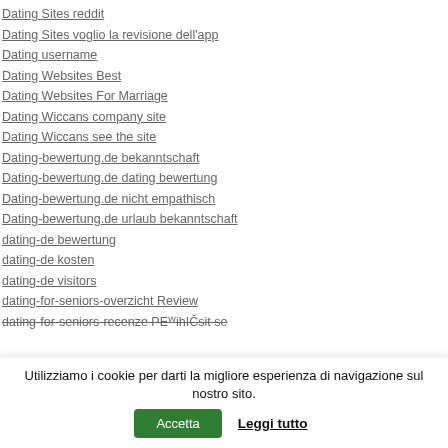Dating Sites reddit
Dating Sites voglio la revisione dell'app
Dating username
Dating Websites Best
Dating Websites For Marriage
Dating Wiccans company site
Dating Wiccans see the site
Dating-bewertung.de bekanntschaft
Dating-bewertung.de dating bewertung
Dating-bewertung.de nicht empathisch
Dating-bewertung.de urlaub bekanntschaft
dating-de bewertung
dating-de kosten
dating-de visitors
dating-for-seniors-overzicht Review
dating-for-seniors-recenze PEMihICYsit se
Utilizziamo i cookie per darti la migliore esperienza di navigazione sul nostro sito. Accetta Leggi tutto